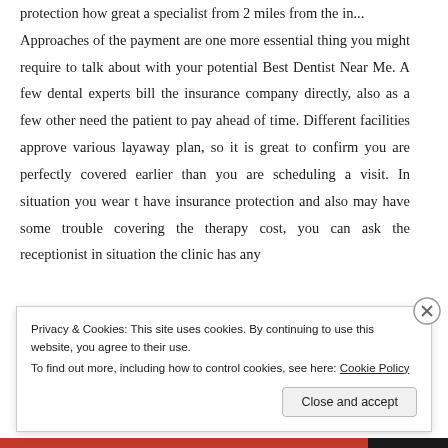protection how great a specialist from 2 miles from the in...
Approaches of the payment are one more essential thing you might require to talk about with your potential Best Dentist Near Me. A few dental experts bill the insurance company directly, also as a few other need the patient to pay ahead of time. Different facilities approve various layaway plan, so it is great to confirm you are perfectly covered earlier than you are scheduling a visit. In situation you wear t have insurance protection and also may have some trouble covering the therapy cost, you can ask the receptionist in situation the clinic has any
Privacy & Cookies: This site uses cookies. By continuing to use this website, you agree to their use. To find out more, including how to control cookies, see here: Cookie Policy
Close and accept